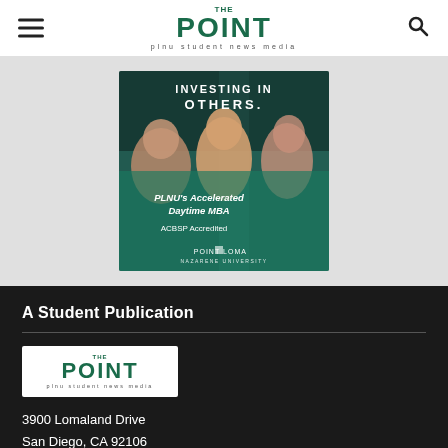THE POINT — plnu student news media
[Figure (illustration): PLNU advertisement banner showing three people in a medical/professional setting with teal overlay. Text reads: INVESTING IN OTHERS. PLNU's Accelerated Daytime MBA. ACBSP Accredited. Point Loma Nazarene University logo.]
A Student Publication
[Figure (logo): The Point - plnu student news media logo on white background]
3900 Lomaland Drive
San Diego, CA 92106